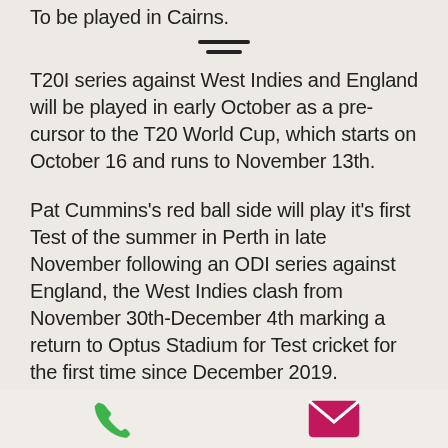To be played in Cairns.
T20I series against West Indies and England will be played in early October as a pre-cursor to the T20 World Cup, which starts on October 16 and runs to November 13th.
Pat Cummins's red ball side will play it's first Test of the summer in Perth in late November following an ODI series against England, the West Indies clash from November 30th-December 4th marking a return to Optus Stadium for Test cricket for the first time since December 2019.
[Figure (other): Phone icon (green) and email envelope icon (magenta/pink) in the footer bar]